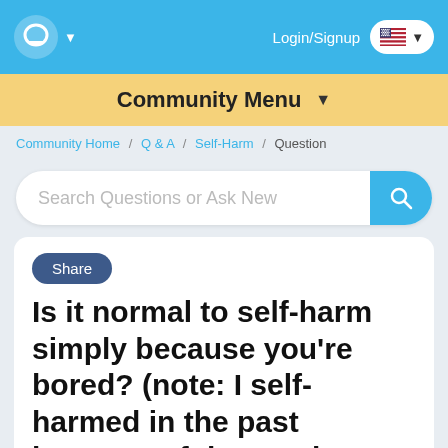Login/Signup
Community Menu
Community Home / Q & A / Self-Harm / Question
Search Questions or Ask New
Share
Is it normal to self-harm simply because you're bored? (note: I self-harmed in the past because of depression,